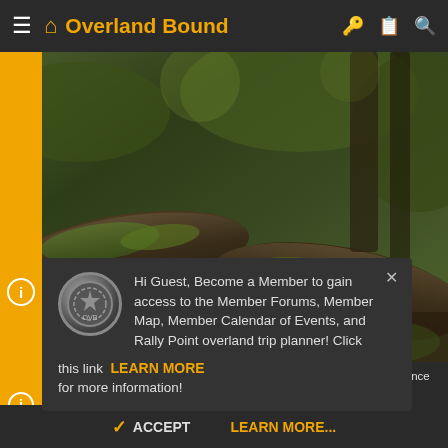Overland Bound
[Figure (screenshot): Forest/wilderness background photo with moss-covered logs and trees in a dense green forest]
Hi Guest, Become a Member to gain access to the Member Forums, Member Map, Member Calendar of Events, and Rally Point overland trip planner! Click this link LEARN MORE for more information!
This site uses cookies to help personalise content, tailor your experience and to keep you logged in if you register. By continuing to use this site, you are consenting to our use of cookies.
ACCEPT    LEARN MORE...